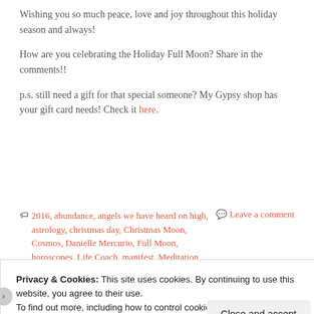Wishing you so much peace, love and joy throughout this holiday season and always!
How are you celebrating the Holiday Full Moon? Share in the comments!!
p.s. still need a gift for that special someone? My Gypsy shop has your gift card needs! Check it here.
🏷 2016, abundance, angels we have heard on high, astrology, christmas day, Christmas Moon, Cosmos, Danielle Mercurio, Full Moon, horoscopes, Life Coach, manifest, Meditation, moon ritual
💬 Leave a comment
Privacy & Cookies: This site uses cookies. By continuing to use this website, you agree to their use.
To find out more, including how to control cookies, see here: Cookie Policy
Close and accept